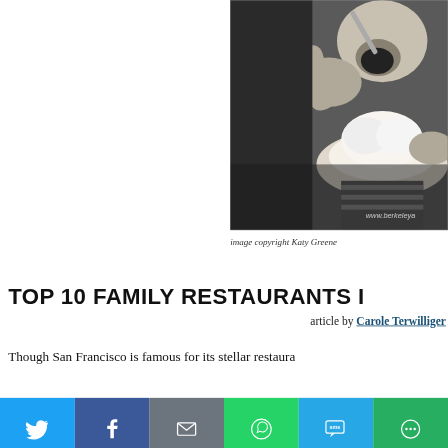[Figure (photo): Black and white photo of a child eating a large ice cream sundae or dessert, mouth open wide, hands holding spoon. Watermark 'www.berkeleyan' visible at bottom.]
image copyright Katy Greene
TOP 10 FAMILY RESTAURANTS I
article by Carole Terwilliger
Though San Francisco is famous for its stellar restaura
[Figure (infographic): Social media sharing bar with Twitter, Facebook, Email, WhatsApp, SMS, and More buttons]